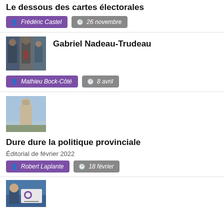Le dessous des cartes électorales
Frédéric Castel · 26 novembre
Gabriel Nadeau-Trudeau
Mathieu Bock-Côté · 8 avril
Dure dure la politique provinciale
Éditorial de février 2022
Robert Laplante · 18 février
[Figure (photo): Thumbnail photo of political figures at bottom of page]